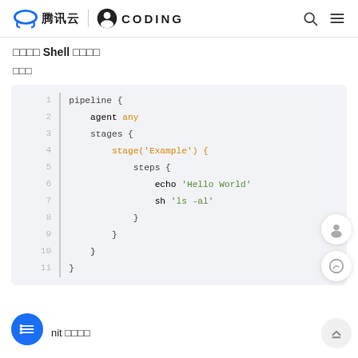腾讯云 | CODING
使用自带 Shell 环境构建
示例
[Figure (screenshot): Code block showing a Jenkins pipeline script with stages, steps, echo and sh commands]
Commit 触发构建